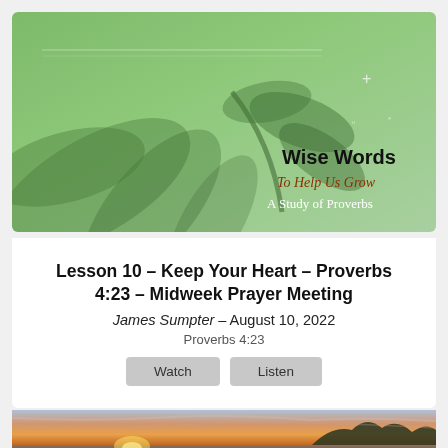[Figure (illustration): Green gradient background with botanical leaf imagery. Text overlay reads 'Wise Words', italic script 'To Help Us Grow', and 'A Study of Proverbs']
Lesson 10 - Keep Your Heart - Proverbs 4:23 - Midweek Prayer Meeting
James Sumpter – August 10, 2022
Proverbs 4:23
[Figure (photo): Partial photo of a sunset over water with silhouetted trees and rocks along the shoreline]